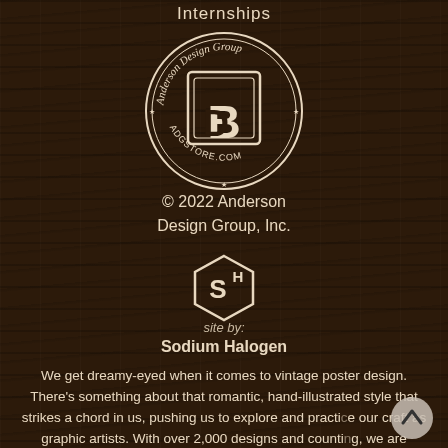Internships
[Figure (logo): Anderson Design Group circular logo with 'ADG' monogram and text 'Anderson Design Group' and 'ADGSTORE.COM' arranged in a circle]
© 2022 Anderson Design Group, Inc.
[Figure (logo): Sodium Halogen hexagon logo with 'SH' letters]
site by:
Sodium Halogen
We get dreamy-eyed when it comes to vintage poster design. There's something about that romantic, hand-illustrated style that strikes a chord in us, pushing us to explore and practice our craft as graphic artists. With over 2,000 designs and counting, we are continuing the grand tradition of the Golden Age of